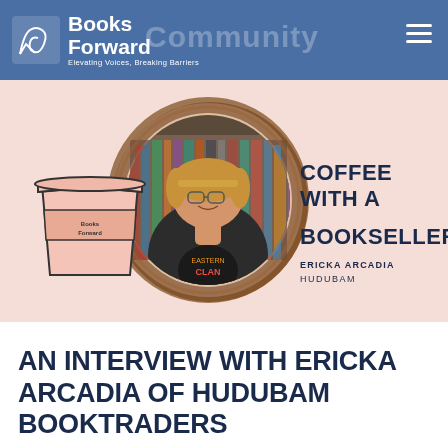Books Forward — Elevating Voices, Breaking Barriers
[Figure (illustration): Coffee With a Bookseller promotional banner featuring a woman smiling in front of bookshelves inside a coffee-stain circle, an illustrated Books Forward coffee cup on the left, and bold text reading COFFEE WITH A BOOKSELLER / ERICKA ARCADIA HUDUBAM on the right. Pink background.]
AN INTERVIEW WITH ERICKA ARCADIA OF HUDUBAM BOOKTRADERS